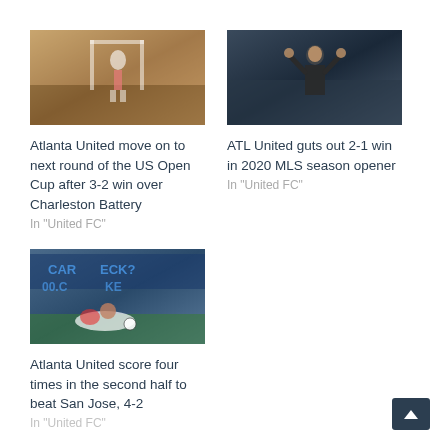[Figure (photo): Soccer player jumping over goalpost area with crowd in background]
Atlanta United move on to next round of the US Open Cup after 3-2 win over Charleston Battery
In "United FC"
[Figure (photo): Coach in dark jacket raising arms in celebration]
ATL United guts out 2-1 win in 2020 MLS season opener
In "United FC"
[Figure (photo): Soccer player in white and red sliding tackle on field]
Atlanta United score four times in the second half to beat San Jose, 4-2
In "United FC"